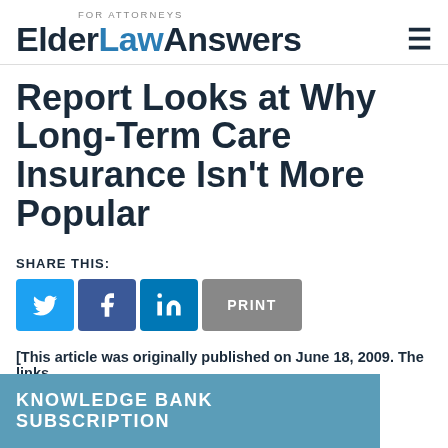FOR ATTORNEYS ElderLawAnswers
Report Looks at Why Long-Term Care Insurance Isn't More Popular
SHARE THIS:
[Figure (other): Social share buttons: Twitter, Facebook, LinkedIn, Print]
[This article was originally published on June 18, 2009.  The links
KNOWLEDGE BANK SUBSCRIPTION